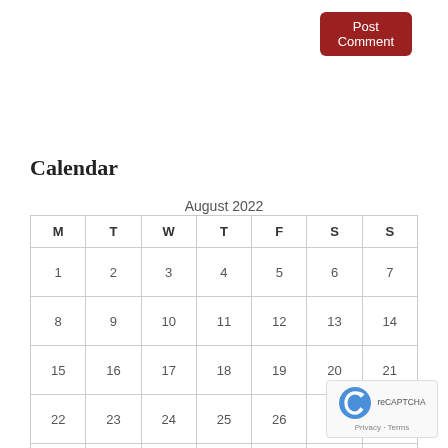[Figure (other): Post Comment button — dark red rounded button in top-right corner]
Calendar
August 2022
| M | T | W | T | F | S | S |
| --- | --- | --- | --- | --- | --- | --- |
| 1 | 2 | 3 | 4 | 5 | 6 | 7 |
| 8 | 9 | 10 | 11 | 12 | 13 | 14 |
| 15 | 16 | 17 | 18 | 19 | 20 | 21 |
| 22 | 23 | 24 | 25 | 26 | 27 |  |
| 29 | 30 | 31 |  |  |  |  |
[Figure (other): reCAPTCHA badge with logo and Privacy · Terms text]